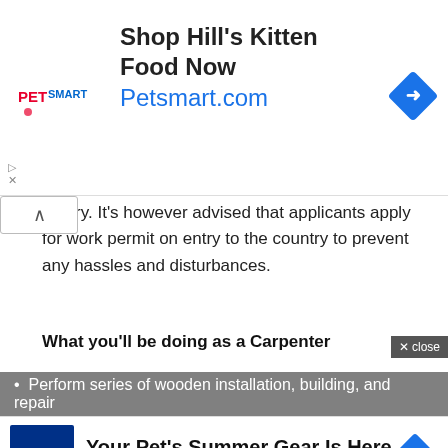[Figure (advertisement): PetSmart ad banner: Shop Hill's Kitten Food Now, Petsmart.com]
ountry. It's however advised that applicants apply for work permit on entry to the country to prevent any hassles and disturbances.
What you'll be doing as a Carpenter
As a Carpenter with AMD Construction Ltd., and other reputable establishments in the country, you'll be required to effectively perform the following responsibilities
Perform series of wooden installation, building, and repair
[Figure (advertisement): Petco ad banner: Your Pet's Summer Gear Is Here, Petco]
Professional installation and repair of wooden systems